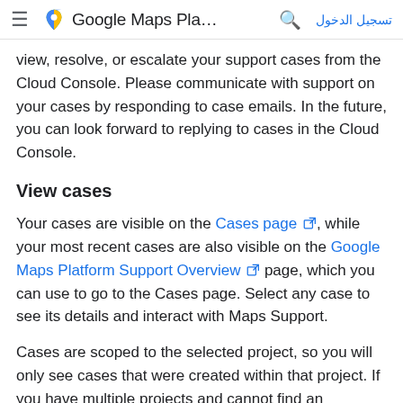≡  Google Maps Pla…  🔍  تسجيل الدخول
view, resolve, or escalate your support cases from the Cloud Console. Please communicate with support on your cases by responding to case emails. In the future, you can look forward to replying to cases in the Cloud Console.
View cases
Your cases are visible on the Cases page [external link], while your most recent cases are also visible on the Google Maps Platform Support Overview [external link] page, which you can use to go to the Cases page. Select any case to see its details and interact with Maps Support.
Cases are scoped to the selected project, so you will only see cases that were created within that project. If you have multiple projects and cannot find an expected support case, check to see if you are viewing the project from where you originally created the support case.